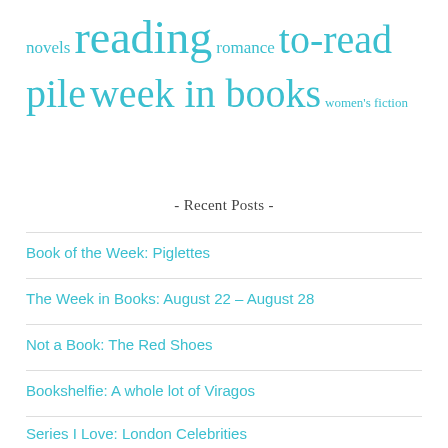novels reading romance to-read pile week in books women's fiction
- Recent Posts -
Book of the Week: Piglettes
The Week in Books: August 22 – August 28
Not a Book: The Red Shoes
Bookshelfie: A whole lot of Viragos
Series I Love: London Celebrities